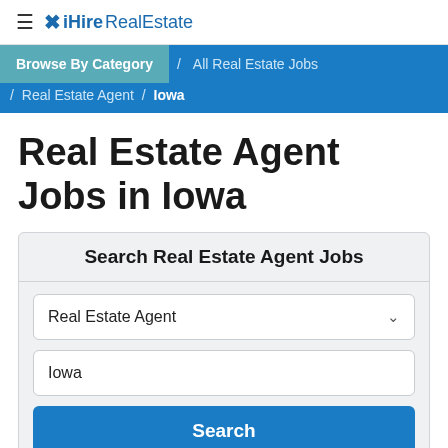≡ ✕ iHireRealEstate
Browse By Category / All Real Estate Jobs / Real Estate Agent / Iowa
Real Estate Agent Jobs in Iowa
Search Real Estate Agent Jobs
Real Estate Agent (dropdown)
Iowa (text input)
Search (button)